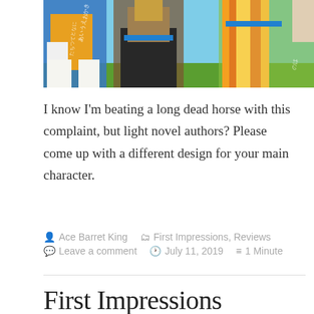[Figure (illustration): Manga/anime style illustration showing characters in colorful outfits — one in blue and yellow, one in dark clothes, one with long blonde/orange streaked hair in green — against a blue sky background.]
I know I'm beating a long dead horse with this complaint, but light novel authors? Please come up with a different design for your main character.
Ace Barret King   First Impressions, Reviews   Leave a comment   July 11, 2019   1 Minute
First Impressions